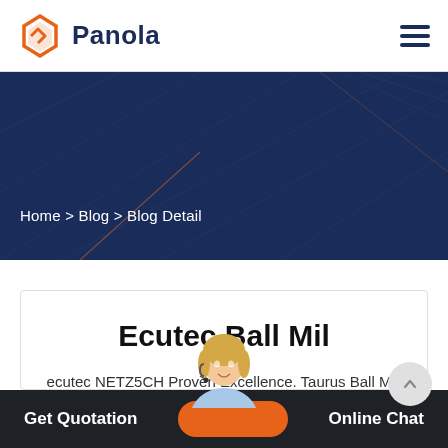Panola
[Figure (screenshot): Navigation bar with Panola logo (orange hexagonal icon) and hamburger menu icon on the right]
[Figure (screenshot): Dark navy blue hero banner with diagonal line patterns and breadcrumb navigation reading: Home > Blog > Blog Detail]
Home > Blog > Blog Detail
Ecutec Ball Mil
ecutec NETZ5CH Proven Excellence. Taurus Ball Mill for Fine and Ultrafine Products MINERALS & MINING a Business Fiel NETZSCH Grinding &..
[Figure (photo): Customer service representative / chat support woman with headset, partially visible at bottom center]
Get Quotation    Online Chat